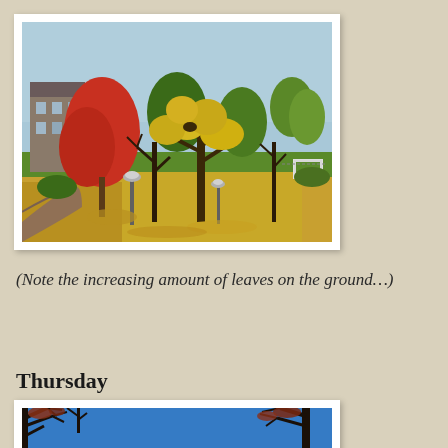[Figure (photo): Autumn park scene showing trees with red, orange and yellow leaves, fallen leaves covering the ground, a path, lamp posts, green grass lawn, and a goal post in the background. Buildings visible on the left.]
(Note the increasing amount of leaves on the ground…)
Thursday
[Figure (photo): Blue sky with dark silhouetted tree branches in the foreground.]